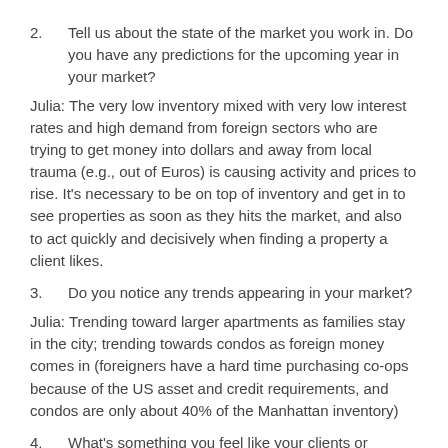2.    Tell us about the state of the market you work in. Do you have any predictions for the upcoming year in your market?
Julia: The very low inventory mixed with very low interest rates and high demand from foreign sectors who are trying to get money into dollars and away from local trauma (e.g., out of Euros) is causing activity and prices to rise. It's necessary to be on top of inventory and get in to see properties as soon as they hits the market, and also to act quickly and decisively when finding a property a client likes.
3.    Do you notice any trends appearing in your market?
Julia: Trending toward larger apartments as families stay in the city; trending towards condos as foreign money comes in (foreigners have a hard time purchasing co-ops because of the US asset and credit requirements, and condos are only about 40% of the Manhattan inventory)
4.    What's something you feel like your clients or potential clients ask you for all the time?
Julia: They always want MORE- more inventory and more